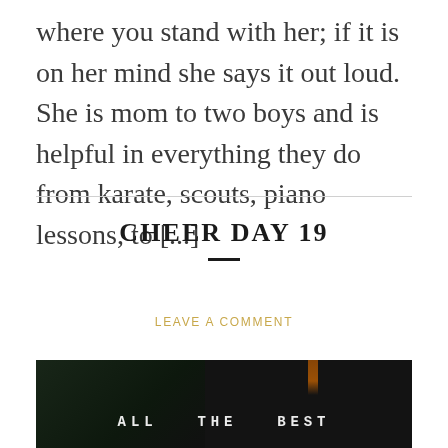where you stand with her; if it is on her mind she says it out loud. She is mom to two boys and is helpful in everything they do from karate, scouts, piano lessons, to [...]
CHEER DAY 19
LEAVE A COMMENT
[Figure (photo): Dark photograph showing a dimly lit scene with green/dark tones on the left and a text overlay reading 'ALL THE BEST' in spaced uppercase letters near the bottom center.]